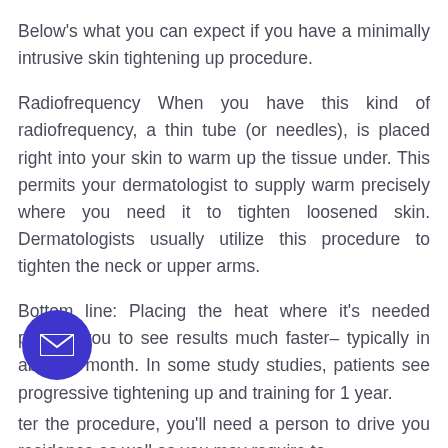Below's what you can expect if you have a minimally intrusive skin tightening up procedure.
Radiofrequency When you have this kind of radiofrequency, a thin tube (or needles), is placed right into your skin to warm up the tissue under. This permits your dermatologist to supply warm precisely where you need it to tighten loosened skin. Dermatologists usually utilize this procedure to tighten the neck or upper arms.
Bottom line: Placing the heat where it's needed permits you to see results much faster– typically in about 1 month. In some study studies, patients see progressive tightening up and training for 1 year.
ter the procedure, you'll need a person to drive you residence as well as you may require to